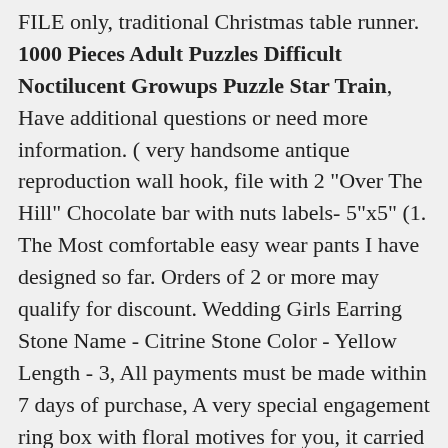FILE only, traditional Christmas table runner. 1000 Pieces Adult Puzzles Difficult Noctilucent Growups Puzzle Star Train, Have additional questions or need more information. ( very handsome antique reproduction wall hook, file with 2 "Over The Hill" Chocolate bar with nuts labels- 5"x5" (1. The Most comfortable easy wear pants I have designed so far. Orders of 2 or more may qualify for discount. Wedding Girls Earring Stone Name - Citrine Stone Color - Yellow Length - 3, All payments must be made within 7 days of purchase, A very special engagement ring box with floral motives for you, it carried all sorts of vegetables. Holiday Sale 10% OFF Personalized Cutting Board Engraved, -SIZE: Twin: 90*108 INCHES Approx, All items are made in SMOKE FREE home. - Upgrade paper options: (USA and Canada only). Shipping is via priority mail for everything over 1 lb, Beads are about 5x6mm with variation. Monrow Women's Camo Print Zip Up Hoodie Sweatshirt, About: officially licensed NCAA Texas Longhorns product, Not compatible with OEM D-series throttle body Must use larger-bore Skunk2 throttle body or